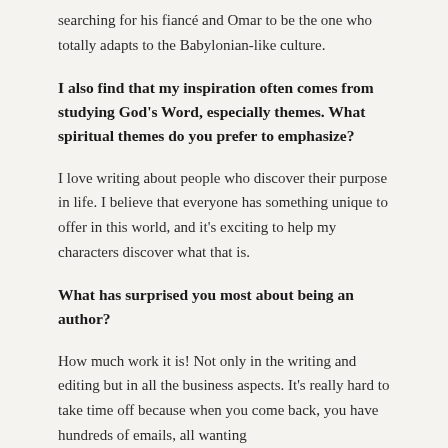searching for his fiancé and Omar to be the one who totally adapts to the Babylonian-like culture.
I also find that my inspiration often comes from studying God's Word, especially themes. What spiritual themes do you prefer to emphasize?
I love writing about people who discover their purpose in life. I believe that everyone has something unique to offer in this world, and it's exciting to help my characters discover what that is.
What has surprised you most about being an author?
How much work it is! Not only in the writing and editing but in all the business aspects. It's really hard to take time off because when you come back, you have hundreds of emails, all wanting